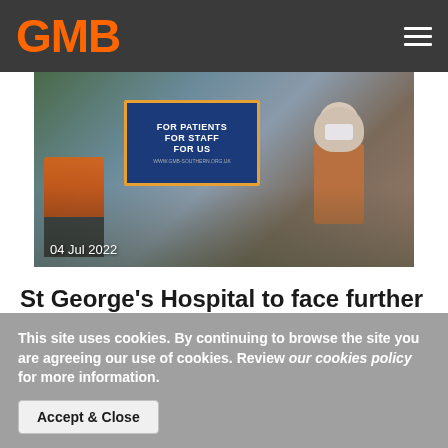GMB
[Figure (photo): Protest march with workers carrying a GMB union banner reading 'FOR PATIENTS FOR STAFF FOR US'. A person in an orange hi-vis vest and a woman in a hijab wearing a face mask are visible. Date overlay: 04 Jul 2022]
St George's Hospital to face further strike action
Mitie workers in the Tooting hospital will be taking a further 5 days of action
This site uses cookies. By continuing to browse the site you are agreeing our use of cookies. Review our cookies policy for more information.
Accept & Close